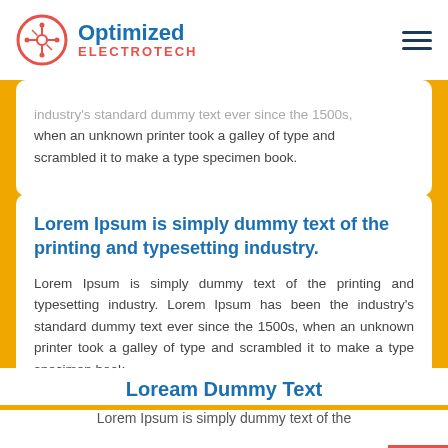Optimized ELECTROTECH
industry's standard dummy text ever since the 1500s, when an unknown printer took a galley of type and scrambled it to make a type specimen book.
Lorem Ipsum is simply dummy text of the printing and typesetting industry.
Lorem Ipsum is simply dummy text of the printing and typesetting industry. Lorem Ipsum has been the industry's standard dummy text ever since the 1500s, when an unknown printer took a galley of type and scrambled it to make a type specimen book.
Loream Dummy Text
Lorem Ipsum is simply dummy text of the